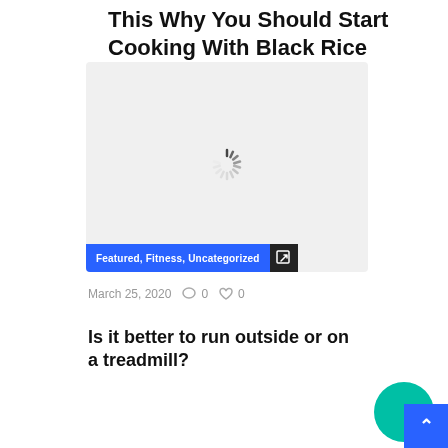This Why You Should Start Cooking With Black Rice
[Figure (photo): Loading spinner / placeholder image area with light gray background and a spinning loader icon in the center. A category bar overlays the bottom with 'Featured, Fitness, Uncategorized' in blue, and a share/link icon in dark box.]
March 25, 2020    0    0
Is it better to run outside or on a treadmill?